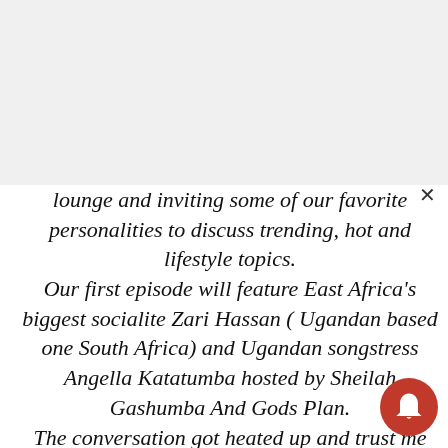lounge and inviting some of our favorite personalities to discuss trending, hot and lifestyle topics. Our first episode will feature East Africa's biggest socialite Zari Hassan ( Ugandan based one South Africa) and Ugandan songstress Angella Katatumba hosted by Sheilah Gashumba And Gods Plan. The conversation got heated up and trust me you wouldn't want to miss it!! Catch the show live on my Facebook this